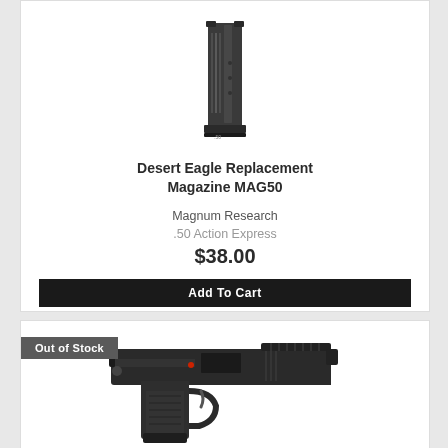[Figure (photo): Desert Eagle replacement magazine product photo - black magazine standing upright]
Desert Eagle Replacement Magazine MAG50
Magnum Research
.50 Action Express
$38.00
Add To Cart
Out of Stock
[Figure (photo): Desert Eagle pistol - black semi-automatic pistol shown in profile view]